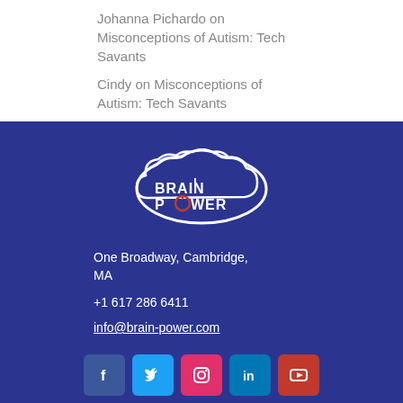Johanna Pichardo on Misconceptions of Autism: Tech Savants
Cindy on Misconceptions of Autism: Tech Savants
[Figure (logo): Brain Power logo - white cloud outline with BRAIN POWER text, power button icon in red on the O]
One Broadway, Cambridge, MA
+1 617 286 6411
info@brain-power.com
[Figure (infographic): Social media icons row: Facebook, Twitter, Instagram, LinkedIn, YouTube]